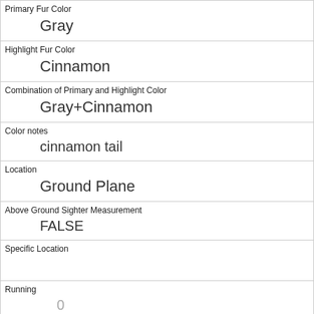| Primary Fur Color | Gray |
| Highlight Fur Color | Cinnamon |
| Combination of Primary and Highlight Color | Gray+Cinnamon |
| Color notes | cinnamon tail |
| Location | Ground Plane |
| Above Ground Sighter Measurement | FALSE |
| Specific Location |  |
| Running | 0 |
| Chasing | 0 |
| Climbing | 0 |
| Eating |  |